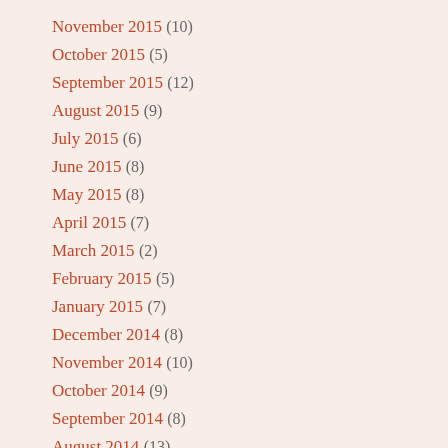November 2015 (10)
October 2015 (5)
September 2015 (12)
August 2015 (9)
July 2015 (6)
June 2015 (8)
May 2015 (8)
April 2015 (7)
March 2015 (2)
February 2015 (5)
January 2015 (7)
December 2014 (8)
November 2014 (10)
October 2014 (9)
September 2014 (8)
August 2014 (13)